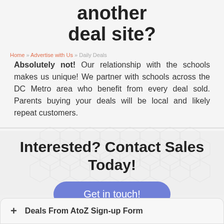another deal site?
Absolutely not! Our relationship with the schools makes us unique! We partner with schools across the DC Metro area who benefit from every deal sold. Parents buying your deals will be local and likely repeat customers.
Home » Advertise with Us » Daily Deals
Interested? Contact Sales Today!
Get in touch!
+ Deals From AtoZ Sign-up Form